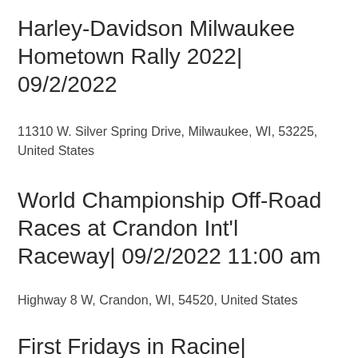Harley-Davidson Milwaukee Hometown Rally 2022| 09/2/2022
11310 W. Silver Spring Drive, Milwaukee, WI, 53225, United States
World Championship Off-Road Races at Crandon Int'l Raceway| 09/2/2022 11:00 am
Highway 8 W, Crandon, WI, 54520, United States
First Fridays in Racine| 09/2/2022